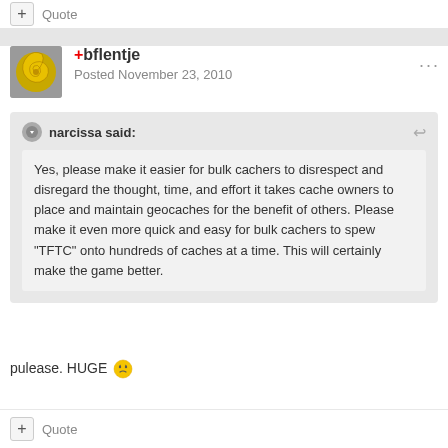+ Quote
+bflentje
Posted November 23, 2010
narcissa said:
Yes, please make it easier for bulk cachers to disrespect and disregard the thought, time, and effort it takes cache owners to place and maintain geocaches for the benefit of others. Please make it even more quick and easy for bulk cachers to spew "TFTC" onto hundreds of caches at a time. This will certainly make the game better.
pulease. HUGE 😒
+ Quote